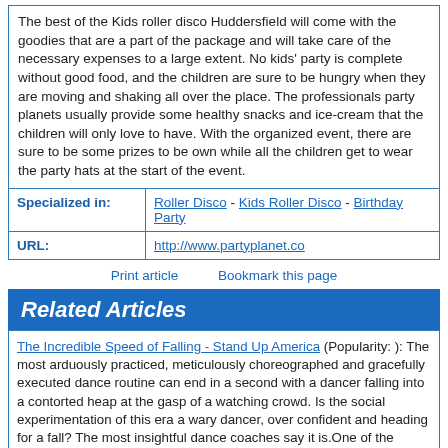The best of the Kids roller disco Huddersfield will come with the goodies that are a part of the package and will take care of the necessary expenses to a large extent. No kids' party is complete without good food, and the children are sure to be hungry when they are moving and shaking all over the place. The professionals party planets usually provide some healthy snacks and ice-cream that the children will only love to have. With the organized event, there are sure to be some prizes to be own while all the children get to wear the party hats at the start of the event.
| Specialized in: | Roller Disco - Kids Roller Disco - Birthday Party |
| --- | --- |
| URL: | http://www.partyplanet.co |
Print article   Bookmark this page
Related Articles
The Incredible Speed of Falling - Stand Up America (Popularity: ): The most arduously practiced, meticulously choreographed and gracefully executed dance routine can end in a second with a dancer falling into a contorted heap at the gasp of a watching crowd. Is the social experimentation of this era a wary dancer, over confident and heading for a fall? The most insightful dance coaches say it is.One of the youngest conquerors in history, Alexander the Great swept across the world with ...
Insurgent psychology - Honour, Dignity, Shame and Humiliation - the roots of an endless war (Popularity: ): Working out the perspectives for war takes a certain type of empathy. It should not be confused with sympathy or even, in this case, as necessitating a positive connotation. Every general should be empathetic to his enemy counterpart. If he is to stand a good chance of anticipating his moves and thereby forearming himself with the knowledge to defeat him, he must understand what motivates him.